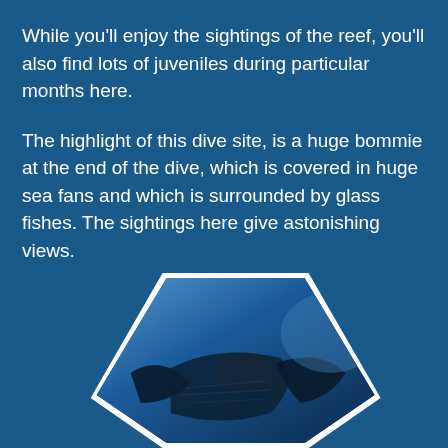While you'll enjoy the sightings of the reef, you'll also find lots of juveniles during particular months here.
The highlight of this dive site, is a huge bommie at the end of the dive, which is covered in huge sea fans and which is surrounded by glass fishes. The sightings here give astonishing views.
[Figure (photo): Hexagonal framed underwater photo showing a close-up of a manta ray or large fish, partially visible at bottom of page, set against a blue ocean background]